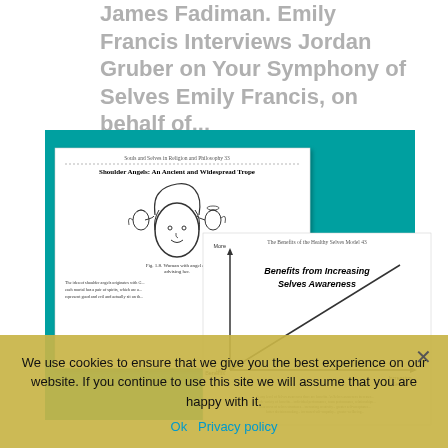James Fadiman. Emily Francis Interviews Jordan Gruber on Your Symphony of Selves Emily Francis, on behalf of...
[Figure (illustration): Book cover image showing two overlapping white pages/cards against a teal and navy blue background. Left card shows 'Shoulder Angels: An Ancient and Widespread Trope' with a line drawing of a woman with small angel figures on her shoulders. Right card shows a graph titled 'Benefits from Increasing Selves Awareness' with an upward sloping line.]
We use cookies to ensure that we give you the best experience on our website. If you continue to use this site we will assume that you are happy with it.
Ok   Privacy policy